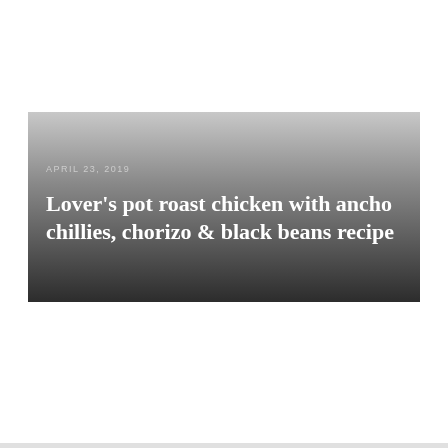[Figure (photo): A banner/hero image area with a gradient from light gray at the top to dark gray/black at the bottom, containing a date label and article title overlaid in white text.]
APRIL 23, 2019
Lover's pot roast chicken with ancho chillies, chorizo & black beans recipe